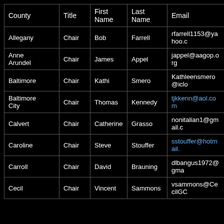| County | Title | First Name | Last Name | Email |
| --- | --- | --- | --- | --- |
| Allegany | Chair | Bob | Farrell | rfarrell1153@yahoo.c |
| Anne Arundel | Chair | James | Appel | jappel@aagop.org |
| Baltimore | Chair | Kathi | Smero | Kathleensmero@iclo |
| Baltimore City | Chair | Thomas | Kennedy | tjkkenn@aol.com |
| Calvert | Chair | Catherine | Grasso | nonitalian1@gmail.c |
| Caroline | Chair | Steve | Stouffer | sstouffer@hotmail. |
| Carroll | Chair | David | Brauning | dlbangus1972@gma |
| Cecil | Chair | Vincent | Sammons | vsammons@CecilGC |